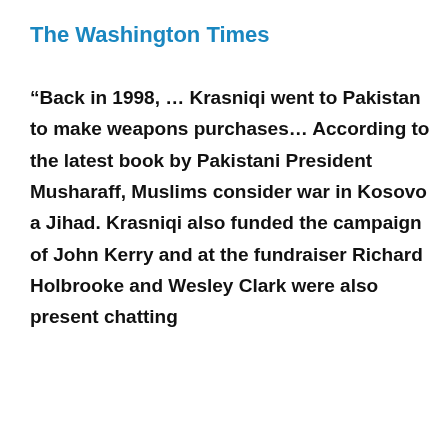The Washington Times
“Back in 1998, … Krasniqi went to Pakistan to make weapons purchases… According to the latest book by Pakistani President Musharaff, Muslims consider war in Kosovo a Jihad. Krasniqi also funded the campaign of John Kerry and at the fundraiser Richard Holbrooke and Wesley Clark were also present chatting